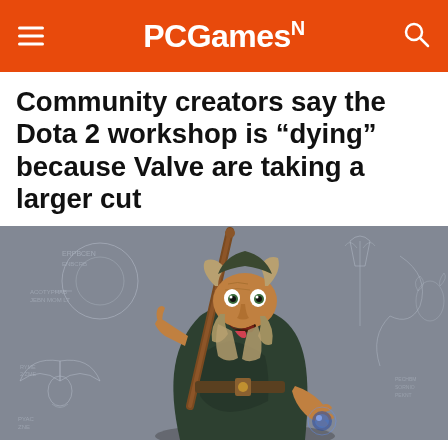PCGamesN
Community creators say the Dota 2 workshop is “dying” because Valve are taking a larger cut
[Figure (illustration): Dota 2 character artwork showing a hunched wizard-like character holding a staff, with concept art sketches visible in the background on a grey stone-textured wall.]